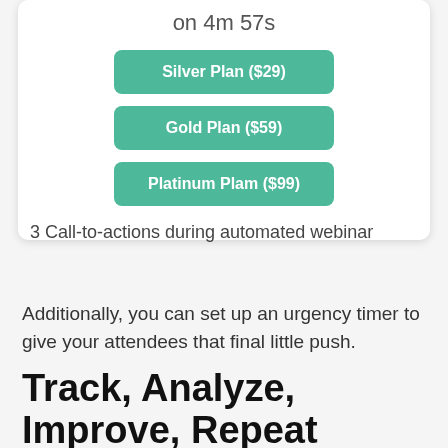[Figure (other): White card showing a countdown timer label 'on 4m 57s' and three pricing buttons: Silver Plan ($29), Gold Plan ($59), Platinum Plam ($99)]
3 Call-to-actions during automated webinar
Additionally, you can set up an urgency timer to give your attendees that final little push.
Track, Analyze, Improve, Repeat